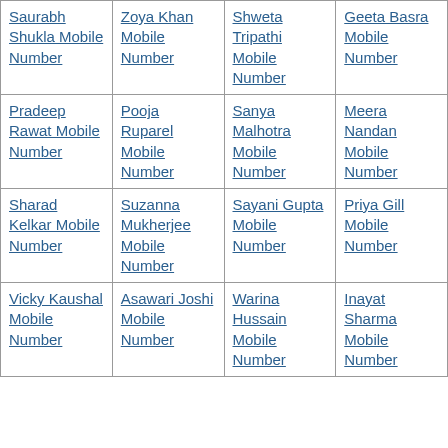| Saurabh Shukla Mobile Number | Zoya Khan Mobile Number | Shweta Tripathi Mobile Number | Geeta Basra Mobile Number |
| Pradeep Rawat Mobile Number | Pooja Ruparel Mobile Number | Sanya Malhotra Mobile Number | Meera Nandan Mobile Number |
| Sharad Kelkar Mobile Number | Suzanna Mukherjee Mobile Number | Sayani Gupta Mobile Number | Priya Gill Mobile Number |
| Vicky Kaushal Mobile Number | Asawari Joshi Mobile Number | Warina Hussain Mobile Number | Inayat Sharma Mobile Number |